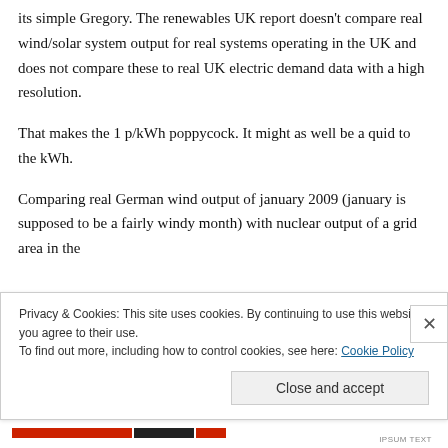its simple Gregory. The renewables UK report doesn't compare real wind/solar system output for real systems operating in the UK and does not compare these to real UK electric demand data with a high resolution.
That makes the 1 p/kWh poppycock. It might as well be a quid to the kWh.
Comparing real German wind output of january 2009 (january is supposed to be a fairly windy month) with nuclear output of a grid area in the
Privacy & Cookies: This site uses cookies. By continuing to use this website, you agree to their use.
To find out more, including how to control cookies, see here: Cookie Policy
Close and accept